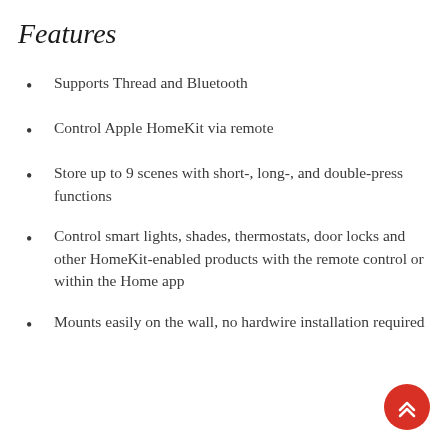Features
Supports Thread and Bluetooth
Control Apple HomeKit via remote
Store up to 9 scenes with short-, long-, and double-press functions
Control smart lights, shades, thermostats, door locks and other HomeKit-enabled products with the remote control or within the Home app
Mounts easily on the wall, no hardwire installation required